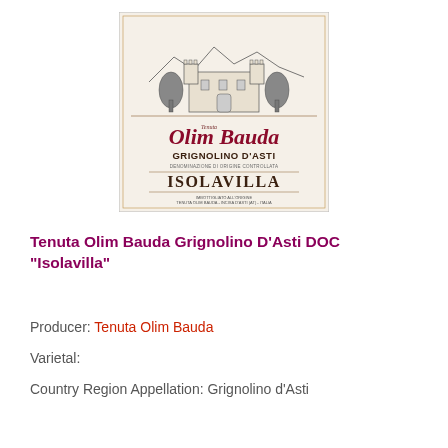[Figure (illustration): Wine bottle label for Tenuta Olim Bauda Grignolino D'Asti DOC 'Isolavilla'. The label features an engraving-style illustration of a castle/villa at the top, decorative script text 'Tenuta Olim Bauda' in red cursive, 'GRIGNOLINO D'ASTI' in dark letters, 'ISOLAVILLA' in large serif letters, and small producer details at the bottom. Cream/off-white background with red and dark brown text.]
Tenuta Olim Bauda Grignolino D'Asti DOC "Isolavilla"
Producer: Tenuta Olim Bauda
Varietal:
Country Region Appellation: Grignolino d'Asti